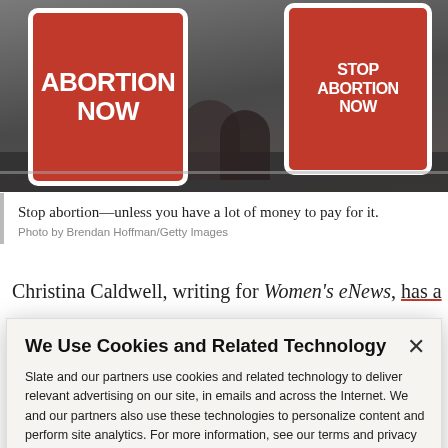[Figure (photo): Protest scene showing people holding red heart-shaped signs reading 'ABORTION NOW' and 'STOP ABORTION NOW' with crowd and metal barriers in background.]
Stop abortion—unless you have a lot of money to pay for it.
Photo by Brendan Hoffman/Getty Images
Christina Caldwell, writing for Women's eNews, has a
We Use Cookies and Related Technology
Slate and our partners use cookies and related technology to deliver relevant advertising on our site, in emails and across the Internet. We and our partners also use these technologies to personalize content and perform site analytics. For more information, see our terms and privacy policy.  Privacy Policy
OK